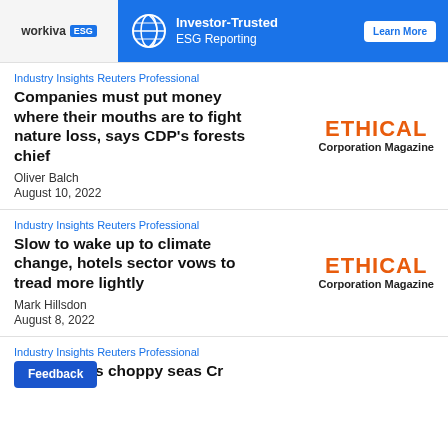[Figure (other): Workiva ESG advertisement banner with globe icon, 'Investor-Trusted ESG Reporting' text, and 'Learn More' button on blue background]
Industry Insights Reuters Professional
Companies must put money where their mouths are to fight nature loss, says CDP’s forests chief
Oliver Balch
August 10, 2022
[Figure (logo): ETHICAL Corporation Magazine logo in orange and black]
Industry Insights Reuters Professional
Slow to wake up to climate change, hotels sector vows to tread more lightly
Mark Hillsdon
August 8, 2022
[Figure (logo): ETHICAL Corporation Magazine logo in orange and black]
Industry Insights Reuters Professional
Cr[Feedback]stry faces choppy seas
Feedback